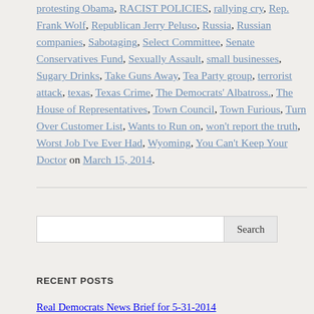protesting Obama, RACIST POLICIES, rallying cry, Rep. Frank Wolf, Republican Jerry Peluso, Russia, Russian companies, Sabotaging, Select Committee, Senate Conservatives Fund, Sexually Assault, small businesses, Sugary Drinks, Take Guns Away, Tea Party group, terrorist attack, texas, Texas Crime, The Democrats' Albatross., The House of Representatives, Town Council, Town Furious, Turn Over Customer List, Wants to Run on, won't report the truth, Worst Job I've Ever Had, Wyoming, You Can't Keep Your Doctor on March 15, 2014.
Search
RECENT POSTS
Real Democrats News Brief for 5-31-2014